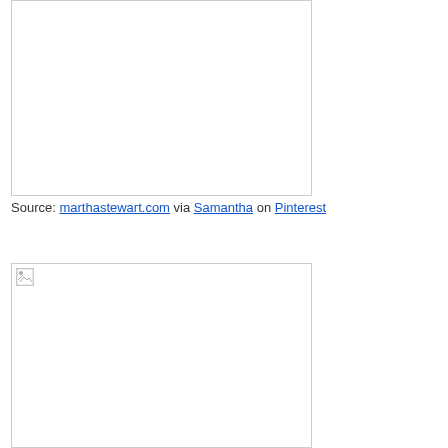[Figure (photo): Large image box, top portion of page, image not loaded (broken image placeholder)]
Source: marthastewart.com via Samantha on Pinterest
[Figure (photo): Large image box, bottom portion of page, image partially loaded with broken image icon in top-left corner]